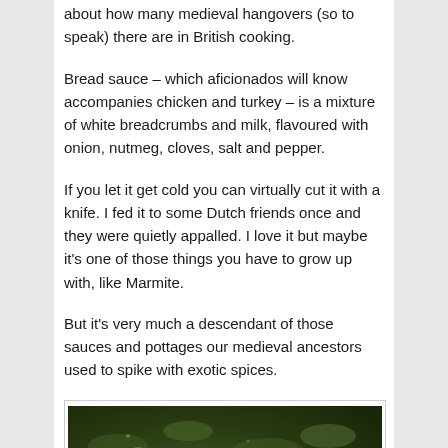about how many medieval hangovers (so to speak) there are in British cooking.
Bread sauce – which aficionados will know accompanies chicken and turkey – is a mixture of white breadcrumbs and milk, flavoured with onion, nutmeg, cloves, salt and pepper.
If you let it get cold you can virtually cut it with a knife. I fed it to some Dutch friends once and they were quietly appalled. I love it but maybe it's one of those things you have to grow up with, like Marmite.
But it's very much a descendant of those sauces and pottages our medieval ancestors used to spike with exotic spices.
[Figure (photo): Close-up photo of green herbs or sauce being cooked in a pan, with a metal spoon visible]